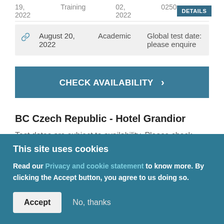| Date | Type | Test Date | Code |
| --- | --- | --- | --- |
| 19, 2022 | Training | 02, 2022 | 0250 |
|  | Date | Type | Info |
| --- | --- | --- | --- |
| 🔗 | August 20, 2022 | Academic | Global test date: please enquire |
CHECK AVAILABILITY >
BC Czech Republic - Hotel Grandior
Test dates are subject to availability. Please check real-time availability on the British Council Online Registration System.
This site uses cookies
Read our Privacy and cookie statement to know more. By clicking the Accept button, you agree to us doing so.
Accept
No, thanks